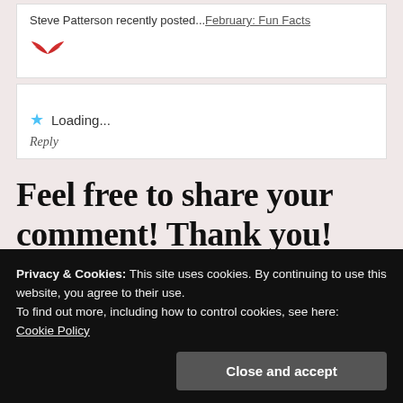Steve Patterson recently posted...February: Fun Facts
[Figure (illustration): Red wing/bird icon emoji]
★ Loading...
Reply
Feel free to share your comment! Thank you!
Enter your comment here...
Privacy & Cookies: This site uses cookies. By continuing to use this website, you agree to their use.
To find out more, including how to control cookies, see here:
Cookie Policy
Close and accept